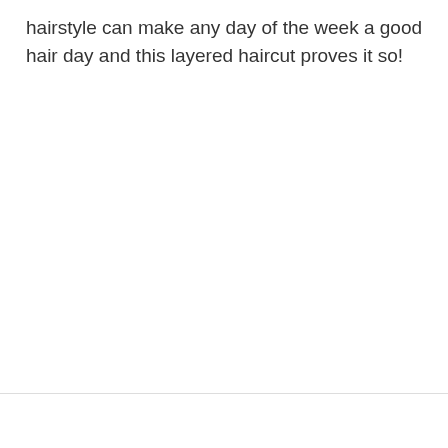hairstyle can make any day of the week a good hair day and this layered haircut proves it so!